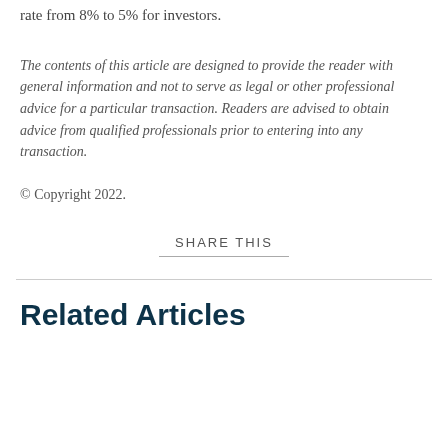rate from 8% to 5% for investors.
The contents of this article are designed to provide the reader with general information and not to serve as legal or other professional advice for a particular transaction. Readers are advised to obtain advice from qualified professionals prior to entering into any transaction.
© Copyright 2022.
SHARE THIS
Related Articles